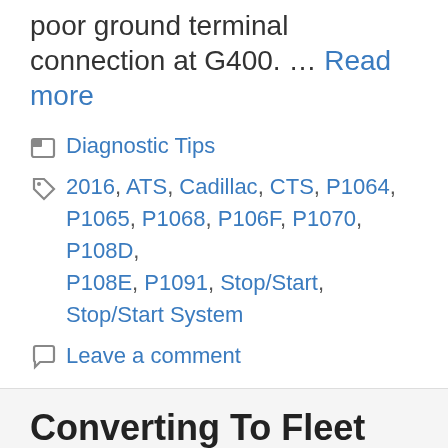poor ground terminal connection at G400. … Read more
Categories: Diagnostic Tips
Tags: 2016, ATS, Cadillac, CTS, P1064, P1065, P1068, P106F, P1070, P108D, P108E, P1091, Stop/Start, Stop/Start System
Leave a comment
Converting To Fleet Key